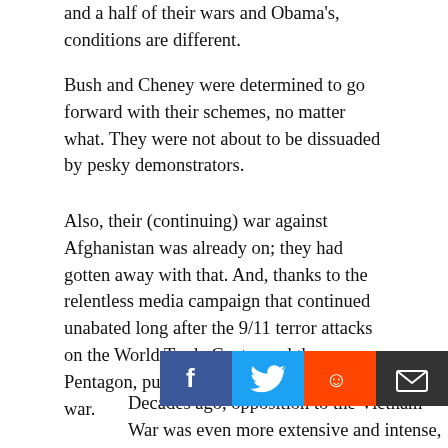and a half of their wars and Obama's, conditions are different.
Bush and Cheney were determined to go forward with their schemes, no matter what. They were not about to be dissuaded by pesky demonstrators.
Also, their (continuing) war against Afghanistan was already on; they had gotten away with that. And, thanks to the relentless media campaign that continued unabated long after the 9/11 terror attacks on the World Trade Center and the Pentagon, public opinion was primed for war.
Decades ago, opposition to the Vietnam War was even more extensive and intense, and, thanks to conscription, the country was coming apart at the seams. Nevertheless, the War Party was able to hold its ground.
It was not until the futility of the war became evident throughout the entire American power